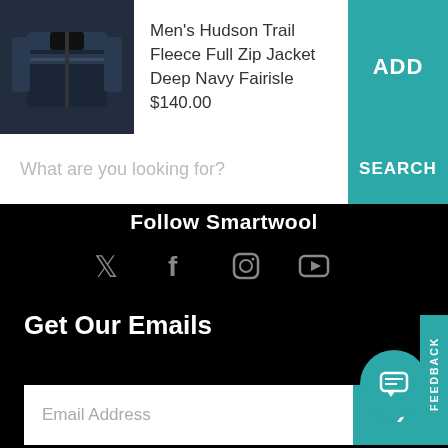[Figure (photo): Men's Hudson Trail Fleece Full Zip Jacket product image in dark navy fairisle pattern]
Men's Hudson Trail Fleece Full Zip Jacket Deep Navy Fairisle $140.00
ADD
What are you looking for?
SEARCH
Follow Smartwool
[Figure (infographic): Social media icons: Twitter, Facebook, Instagram, YouTube]
Get Our Emails
Email Address
>
[Figure (infographic): Chat bubble icon button]
Back to Top ▲
FEEDBACK